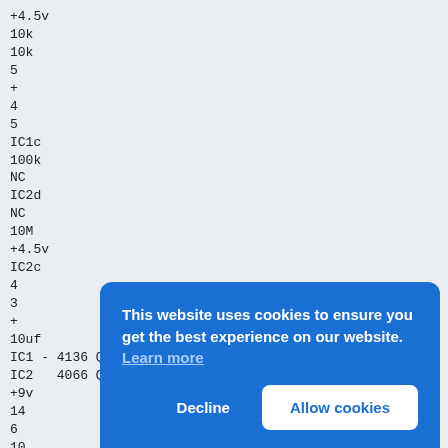+4.5v
10k
10k
5
+
4
5
IC1c
100k
NC
IC2d
NC
10M
+4.5v
IC2c
4
3
+
10uf
IC1 - 4136 Quad Op-amp
IC2   4066 Quad Switch
+9v
14
6
10
9
8
NC
7
NC
Fend
12AX7 (orig. 12AY7)
Normal
This website uses cookies to ensure you get the best experience on our website. Learn more